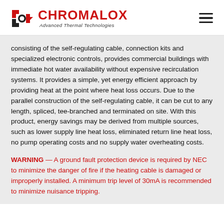[Figure (logo): Chromalox logo with red/black gear-arrow icon and red CHROMALOX text, tagline 'Advanced Thermal Technologies']
consisting of the self-regulating cable, connection kits and specialized electronic controls, provides commercial buildings with immediate hot water availability without expensive recirculation systems. It provides a simple, yet energy efficient approach by providing heat at the point where heat loss occurs. Due to the parallel construction of the self-regulating cable, it can be cut to any length, spliced, tee-branched and terminated on site. With this product, energy savings may be derived from multiple sources, such as lower supply line heat loss, eliminated return line heat loss, no pump operating costs and no supply water overheating costs.
WARNING — A ground fault protection device is required by NEC to minimize the danger of fire if the heating cable is damaged or improperly installed. A minimum trip level of 30mA is recommended to minimize nuisance tripping.